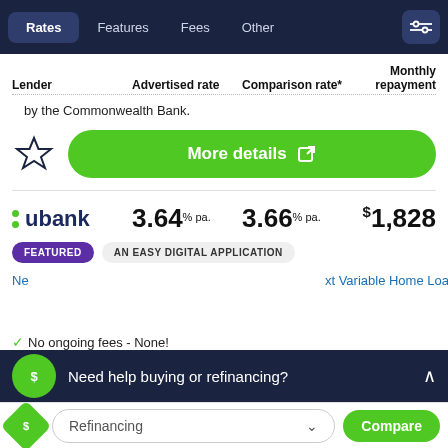Rates | Features | Fees | Other
| Lender | Advertised rate | Comparison rate* | Monthly repayment |
| --- | --- | --- | --- |
| by the Commonwealth Bank. |  |  |  |
| ubank | 3.64% pa. | 3.66% pa. | $1,828 |
by the Commonwealth Bank.
[Figure (other): Star icon (outline) and green More details button with external link icon]
FEATURED   AN EASY DIGITAL APPLICATION
No ongoing fees - None!
Need help buying or refinancing?
Refinancing   Compare